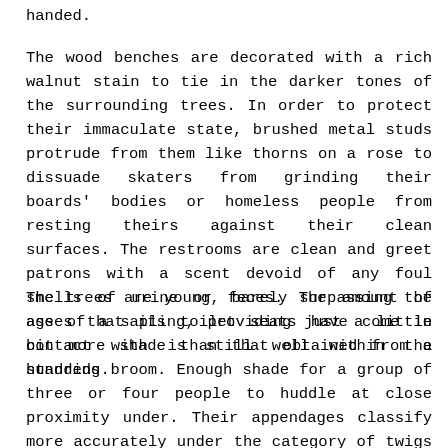handed.
The wood benches are decorated with a rich walnut stain to tie in the darker tones of the surrounding trees. In order to protect their immaculate state, brushed metal studs protrude from them like thorns on a rose to dissuade skaters from grinding their boards' bodies or homeless people from resting theirs against their clean surfaces. The restrooms are clean and greet patrons with a scent devoid of any foul smells of urine or feces. The amount of asses that its toilet seats have come in contact with is still well within the hundreds.
The trees are young, barely surpassing the age of a sapling, providing just a little bit more shade than that obtained from a standing broom. Enough shade for a group of three or four people to huddle at close proximity under. Their appendages classify more accurately under the category of twigs than branches. Their trunks don't have a wide enough surface on